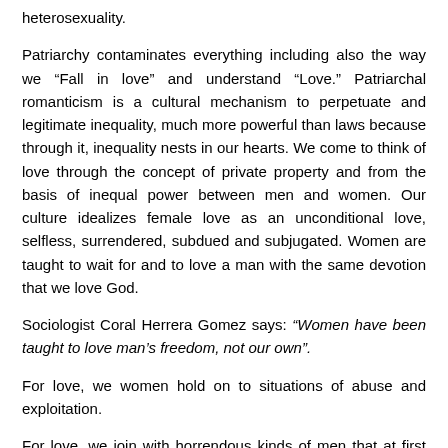heterosexuality.
Patriarchy contaminates everything including also the way we “Fall in love” and understand “Love.” Patriarchal romanticism is a cultural mechanism to perpetuate and legitimate inequality, much more powerful than laws because through it, inequality nests in our hearts. We come to think of love through the concept of private property and from the basis of inequal power between men and women. Our culture idealizes female love as an unconditional love, selfless, surrendered, subdued and subjugated. Women are taught to wait for and to love a man with the same devotion that we love God.
Sociologist Coral Herrera Gomez says: “Women have been taught to love man’s freedom, not our own”.
For love, we women hold on to situations of abuse and exploitation.
For love, we join with horrendous kinds of men that at first seem charming princes, but then they cheat us, take advantage of us, or live at our expense.